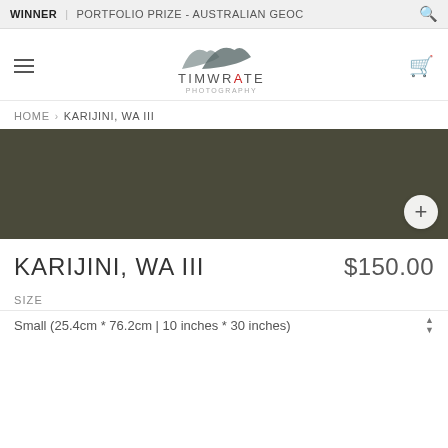WINNER | PORTFOLIO PRIZE - AUSTRALIAN GEOG
[Figure (logo): TimWrate Photography logo with mountain silhouette SVG above stylized text TIMWRATE in grey with red A, and PHOTOGRAPHY subtitle]
HOME › KARIJINI, WA III
[Figure (photo): Dark olive/khaki colored product image placeholder for Karijini, WA III photograph with zoom/expand button (+) in bottom right corner]
KARIJINI, WA III
$150.00
SIZE
Small (25.4cm * 76.2cm | 10 inches * 30 inches)